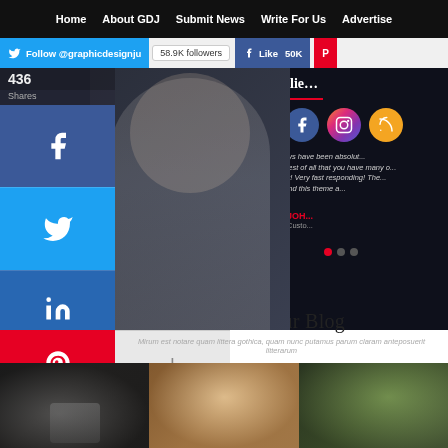Home | About GDJ | Submit News | Write For Us | Advertise
Follow @graphicdesignju | 58.9K followers | Like 50K
[Figure (screenshot): Website screenshot showing a chef in white uniform pointing, with social share sidebar on the left (Facebook, Twitter, LinkedIn, Pinterest, +) and a testimonial/what clients say section on the right with social icons (Twitter, Facebook, Instagram, RSS) and a customer review quote.]
From Our Blog
Mirum est notare quam littera gothica, quam nunc putamus parum claram anteposuerit litterarum
[Figure (photo): Three blog post thumbnail images side by side: leftmost shows hands operating an espresso machine, middle shows latte art being poured, rightmost shows a plant/food image]